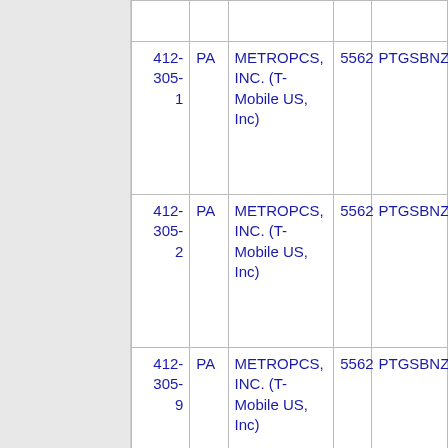| Number | State | Company | Code | ID |
| --- | --- | --- | --- | --- |
| 412-305-1 | PA | METROPCS, INC. (T-Mobile US, Inc) | 5562 | PTGSBNZ... |
| 412-305-2 | PA | METROPCS, INC. (T-Mobile US, Inc) | 5562 | PTGSBNZ... |
| 412-305-9 | PA | METROPCS, INC. (T-Mobile US, Inc) | 5562 | PTGSBNZ... |